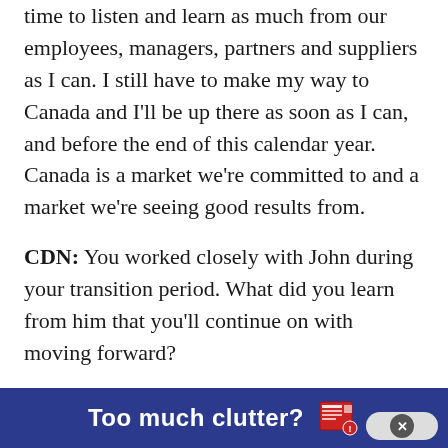time to listen and learn as much from our employees, managers, partners and suppliers as I can. I still have to make my way to Canada and I'll be up there as soon as I can, and before the end of this calendar year. Canada is a market we're committed to and a market we're seeing good results from.
CDN: You worked closely with John during your transition period. What did you learn from him that you'll continue on with moving forward?
P.G.: I've known John since he was with us and we've shared multiple meetings together. John brought a lot of strategy to ATS and I think a lot of the strategies
[Figure (infographic): Dark blue advertisement banner at the bottom of the page with bold white text 'Too much clutter?' and a newspaper/document icon, plus a close button (X) on the right side.]